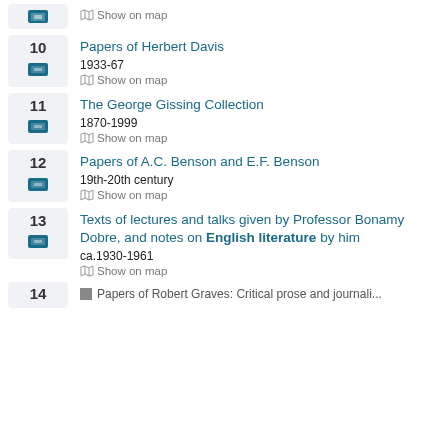Show on map (partial top item)
Papers of Herbert Davis
1933-67
Show on map
The George Gissing Collection
1870-1999
Show on map
Papers of A.C. Benson and E.F. Benson
19th-20th century
Show on map
Texts of lectures and talks given by Professor Bonamy Dobre, and notes on English literature by him
ca.1930-1961
Show on map
14 Papers of Robert Graves: Critical prose and journali...